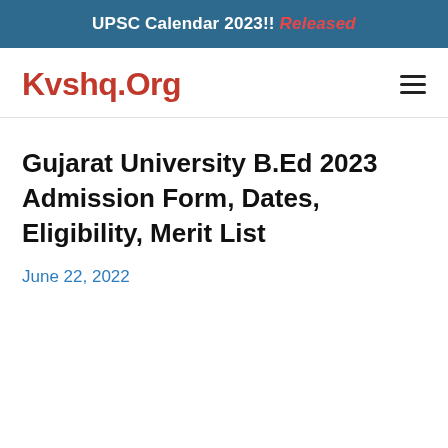UPSC Calendar 2023!! Released
Kvshq.Org
Gujarat University B.Ed 2023 Admission Form, Dates, Eligibility, Merit List
June 22, 2022